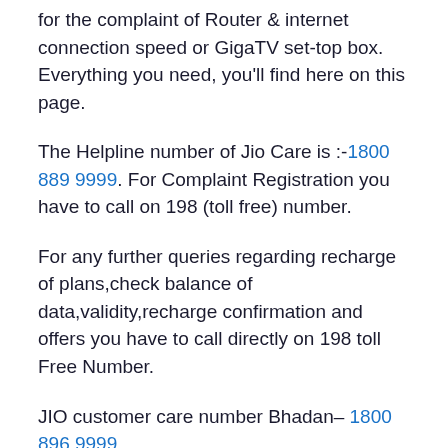for the complaint of Router & internet connection speed or GigaTV set-top box. Everything you need, you'll find here on this page.
The Helpline number of Jio Care is :-1800 889 9999. For Complaint Registration you have to call on 198 (toll free) number.
For any further queries regarding recharge of plans,check balance of data,validity,recharge confirmation and offers you have to call directly on 198 toll Free Number.
JIO customer care number Bhadan– 1800 896 9999